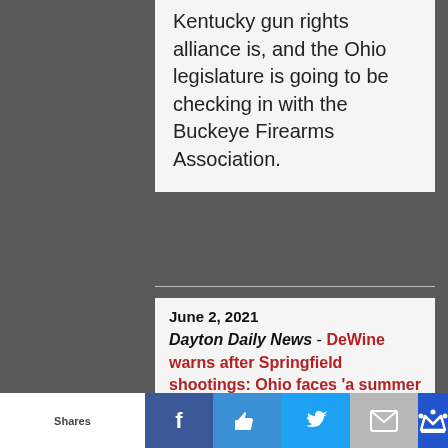Kentucky gun rights alliance is, and the Ohio legislature is going to be checking in with the Buckeye Firearms Association.
June 2, 2021
Dayton Daily News - DeWine warns after Springfield shootings: Ohio faces 'a summer of violence in our cities'
Dean Rieck, executive director of the Buckeye Firearms Association, does not support additional laws to deal with criminal use of guns.
Shares